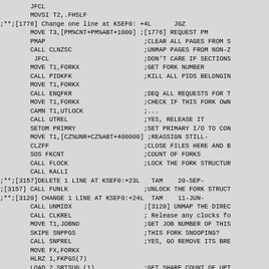Assembly/system code listing showing TOPS-20 monitor source with change annotations